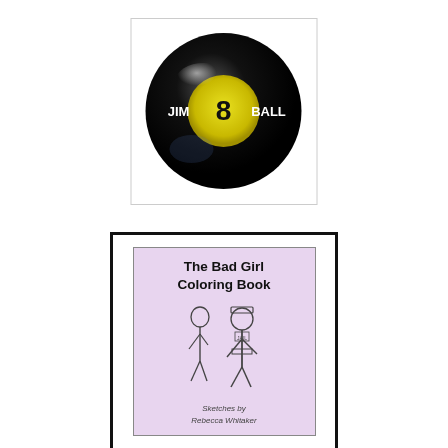[Figure (illustration): A black 8-ball with yellow circle center showing the number 8, and text 'JIM 8 BALL' in white across the middle. Image is inside a white square with light border.]
[Figure (illustration): Book cover image for 'The Bad Girl Coloring Book' with a lavender/pink background showing cartoon sketches of figures, and text 'Sketches by Rebecca Whitaker' at the bottom. Below the book cover is bold text reading 'Click Here To Order'. The whole thing is inside a thick black border frame.]